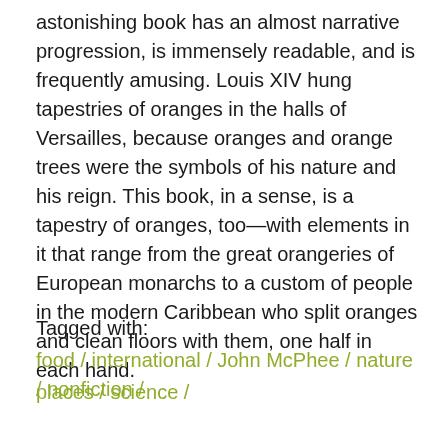astonishing book has an almost narrative progression, is immensely readable, and is frequently amusing. Louis XIV hung tapestries of oranges in the halls of Versailles, because oranges and orange trees were the symbols of his nature and his reign. This book, in a sense, is a tapestry of oranges, too—with elements in it that range from the great orangeries of European monarchs to a custom of people in the modern Caribbean who split oranges and clean floors with them, one half in each hand.
Tagged with:
food / international / John McPhee / nature / nonfiction / places / science /